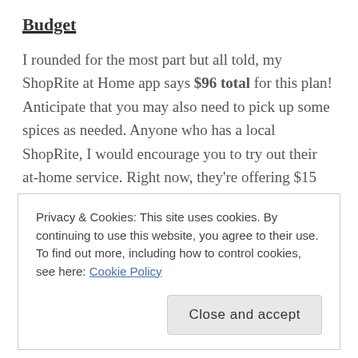Budget
I rounded for the most part but all told, my ShopRite at Home app says $96 total for this plan! Anticipate that you may also need to pick up some spices as needed. Anyone who has a local ShopRite, I would encourage you to try out their at-home service. Right now, they’re offering $15 off when you spend $75 and $10 off $20 in General Mills products. Plus, you can schedule a time that’s convenient t for you. Using this service alone has saved us hundreds because I have time throughout the
Privacy & Cookies: This site uses cookies. By continuing to use this website, you agree to their use.
To find out more, including how to control cookies, see here: Cookie Policy
Close and accept